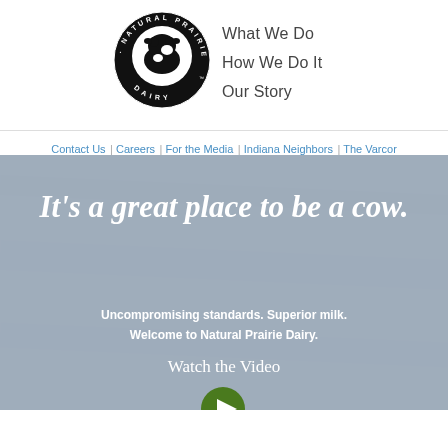[Figure (logo): Natural Prairie Dairy circular logo with black background and cow silhouette]
What We Do
How We Do It
Our Story
Contact Us | Careers | For the Media | Indiana Neighbors | The Varcor
It’s a great place to be a cow.
Uncompromising standards. Superior milk. Welcome to Natural Prairie Dairy.
Watch the Video